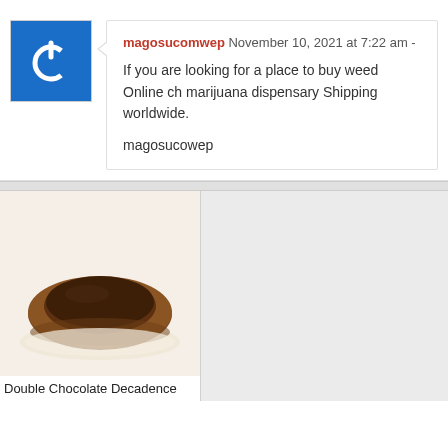[Figure (other): Blue square avatar icon with a white power/refresh symbol (circle with a line at top)]
magosucomwep November 10, 2021 at 7:22 am -
If you are looking for a place to buy weed Online ch marijuana dispensary Shipping worldwide.

magosucowep
[Figure (photo): A chocolate tart — round baked pastry shell with chocolate ganache filling, on a white plate, photographed from above at a slight angle]
Double Chocolate Decadence